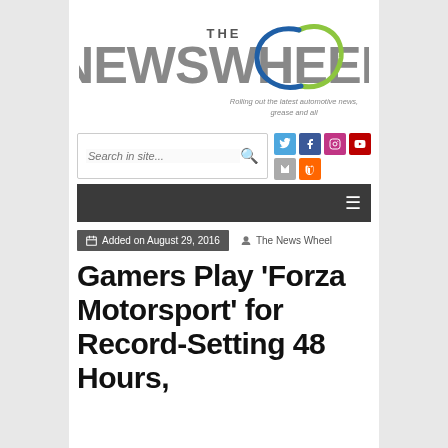[Figure (logo): The News Wheel logo with circular green and blue swoosh design and tagline 'Rolling out the latest automotive news, grease and all']
Added on August 29, 2016   The News Wheel
Gamers Play ‘Forza Motorsport’ for Record-Setting 48 Hours,